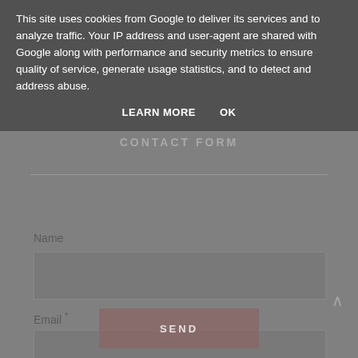This site uses cookies from Google to deliver its services and to analyze traffic. Your IP address and user-agent are shared with Google along with performance and security metrics to ensure quality of service, generate usage statistics, and to detect and address abuse.
LEARN MORE   OK
CONTACT FORM
Name
Email *
Message *
SEND